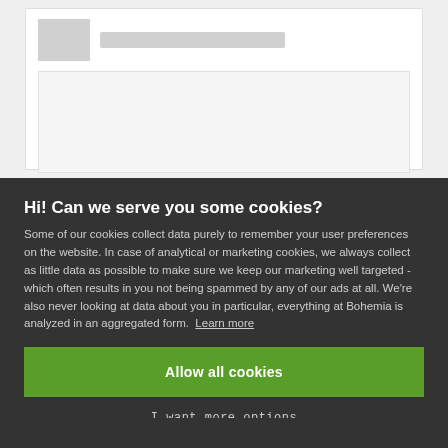[Figure (screenshot): Partial webpage screenshot showing a white content area with a placeholder image thumbnail and a gray bar, plus a gray content block below]
Hi! Can we serve you some cookies?
Some of our cookies collect data purely to remember your user preferences on the website. In case of analytical or marketing cookies, we always collect as little data as possible to make sure we keep our marketing well targeted - which often results in you not being spammed by any of our ads at all. We’re also never looking at data about you in particular, everything at Bohemia is analyzed in an aggregated form. Learn more
Allow all cookies
I want more options